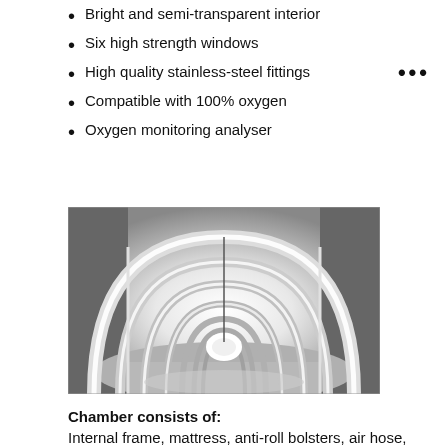Bright and semi-transparent interior
Six high strength windows
High quality stainless-steel fittings
Compatible with 100% oxygen
Oxygen monitoring analyser
[Figure (photo): Interior view of a hyperbaric chamber showing a cylindrical tunnel with bright LED lighting rings along the walls, conveying a bright and semi-transparent appearance in black and white.]
Chamber consists of:
Internal frame, mattress, anti-roll bolsters, air hose,